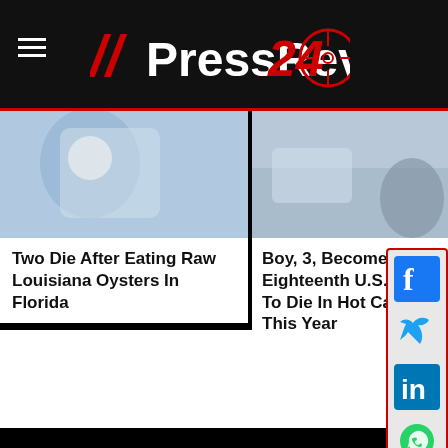[Figure (logo): PressReview24 logo with two red slashes, white bold text 'PressReview24', and a crosshair/target circle icon in red]
[Figure (photo): News article image for 'Two Die After Eating Raw Louisiana Oysters In Florida' — medical/food related photo]
Two Die After Eating Raw Louisiana Oysters In Florida
[Figure (photo): News article image for 'Boy, 3, Becomes Eighteenth U.S. Child To Die In Hot Car This Year' — car related photo]
Boy, 3, Becomes Eighteenth U.S. Child To Die In Hot Car This Year
News
US
World
Politics
Crime
Opinion
Technology
Offbeat
Entertainment
Sport
LifeStyle
Style
Home & Garden
Smart Living
Family & Relationships
Health &
Fit
Food
Travel